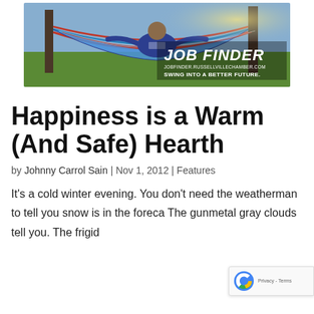[Figure (illustration): Advertisement banner for JobFinder – shows two people relaxing in a colorful hammock outdoors. Text reads: JOB FINDER, jobfinder.russellvillechamber.com, SWING INTO A BETTER FUTURE.]
Happiness is a Warm (And Safe) Hearth
by Johnny Carrol Sain  |  Nov 1, 2012  |  Features
It's a cold winter evening. You don't need the weatherman to tell you snow is in the foreca… The gunmetal gray clouds tell you. The frigid